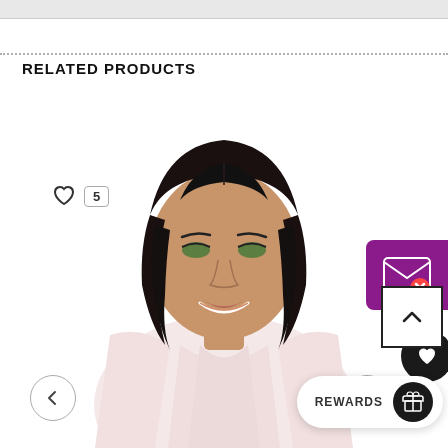RELATED PRODUCTS
[Figure (photo): Model wearing a sleek bob-style wig with straight black hair, smiling, dressed in a light pink top. Shown on a product listing page with navigation arrows, like/wishlist heart icon showing count of 5, a purple email subscribe button, a dark wishlist circle icon, a scroll-to-top button, and a rewards bar at the bottom.]